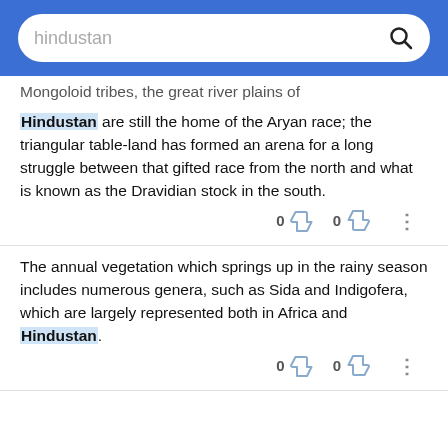[Figure (screenshot): Blue search bar with 'hindustan' placeholder text and a magnifying glass icon]
Mongoloid tribes, the great river plains of Hindustan are still the home of the Aryan race; the triangular table-land has formed an arena for a long struggle between that gifted race from the north and what is known as the Dravidian stock in the south.
0  0  ...
The annual vegetation which springs up in the rainy season includes numerous genera, such as Sida and Indigofera, which are largely represented both in Africa and Hindustan.
0  0  ...